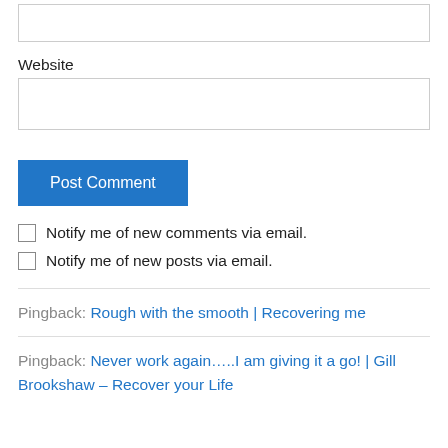Website
Post Comment
Notify me of new comments via email.
Notify me of new posts via email.
Pingback: Rough with the smooth | Recovering me
Pingback: Never work again…..I am giving it a go! | Gill Brookshaw – Recover your Life